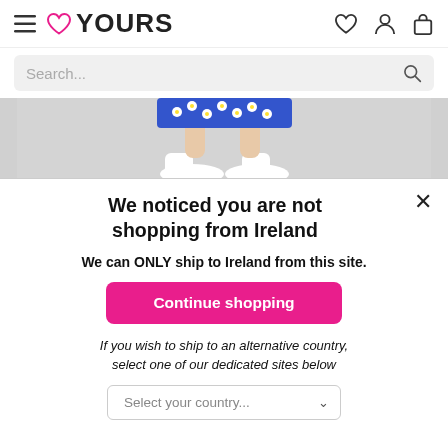YOURS (logo with heart icon, hamburger menu, heart/person/bag icons)
Search...
[Figure (photo): Partial image of a person's lower body wearing a blue floral dress and white shoes against a light grey background]
We noticed you are not shopping from Ireland
We can ONLY ship to Ireland from this site.
Continue shopping
If you wish to ship to an alternative country, select one of our dedicated sites below
Select your country...